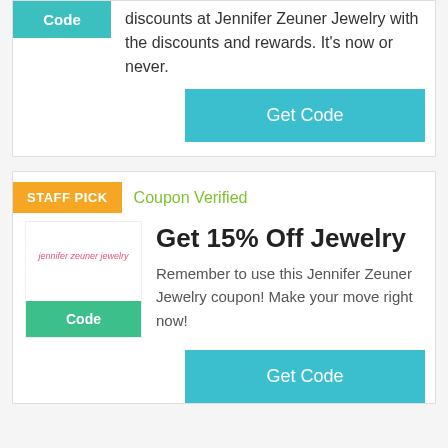[Figure (other): Teal 'Code' badge button at top left of first coupon card]
discounts at Jennifer Zeuner Jewelry with the discounts and rewards. It's now or never.
Get Code
STAFF PICK
Coupon Verified
[Figure (logo): Jennifer Zeuner Jewelry logo in pink script text on white background with teal Code button below]
Get 15% Off Jewelry
Remember to use this Jennifer Zeuner Jewelry coupon! Make your move right now!
Get Code